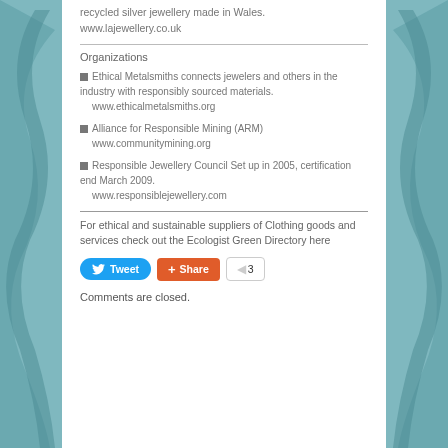recycled silver jewellery made in Wales. www.lajewellery.co.uk
Organizations
Ethical Metalsmiths connects jewelers and others in the industry with responsibly sourced materials. www.ethicalmetalsmiths.org
Alliance for Responsible Mining (ARM) www.communitymining.org
Responsible Jewellery Council Set up in 2005, certification end March 2009. www.responsiblejewellery.com
For ethical and sustainable suppliers of Clothing goods and services check out the Ecologist Green Directory here
[Figure (screenshot): Tweet button, Share button with count of 3]
Comments are closed.